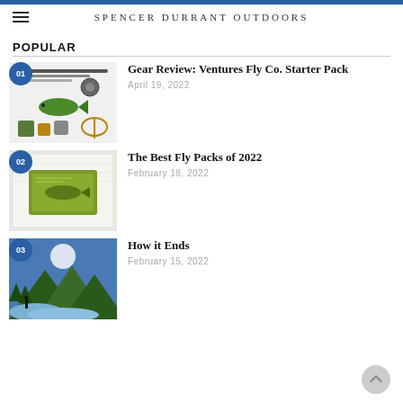SPENCER DURRANT OUTDOORS
POPULAR
01 Gear Review: Ventures Fly Co. Starter Pack
April 19, 2022
02 The Best Fly Packs of 2022
February 18, 2022
03 How it Ends
February 15, 2022